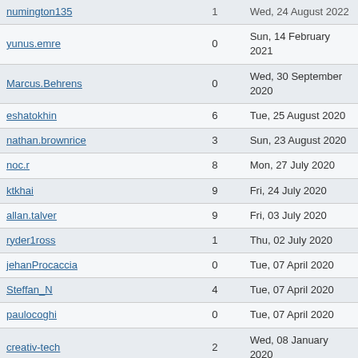| Username | Count | Date |
| --- | --- | --- |
| numington135 | 1 | Wed, 24 August 2022 |
| yunus.emre | 0 | Sun, 14 February 2021 |
| Marcus.Behrens | 0 | Wed, 30 September 2020 |
| eshatokhin | 6 | Tue, 25 August 2020 |
| nathan.brownrice | 3 | Sun, 23 August 2020 |
| noc.r | 8 | Mon, 27 July 2020 |
| ktkhai | 9 | Fri, 24 July 2020 |
| allan.talver | 9 | Fri, 03 July 2020 |
| ryder1ross | 1 | Thu, 02 July 2020 |
| jehanProcaccia | 0 | Tue, 07 April 2020 |
| Steffan_N | 4 | Tue, 07 April 2020 |
| paulocoghi | 0 | Tue, 07 April 2020 |
| creativ-tech | 2 | Wed, 08 January 2020 |
| k9buster | 0 | Mon, 02 December 2019 |
| 63DYxLP1 | 3 | Mon, 16 September 2019 |
| stucci | 1 | Tue, 27 August 2019 |
| djstuandrews | 0 | Tue, 30 July 2019 |